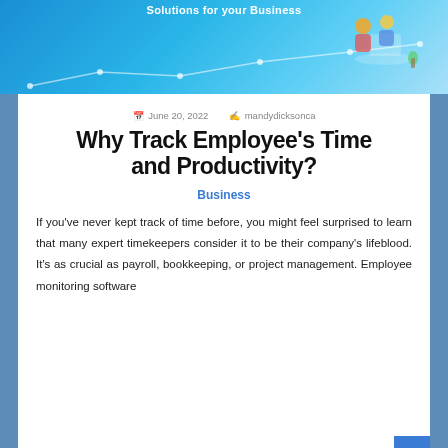[Figure (illustration): Blue banner with text 'Solutions for your Business' and illustrated figures of people working at desks with a line chart trend, on a light blue gradient background]
June 20, 2022   mandydicksonca
Why Track Employee's Time and Productivity?
Business
If you've never kept track of time before, you might feel surprised to learn that many expert timekeepers consider it to be their company's lifeblood. It's as crucial as payroll, bookkeeping, or project management. Employee monitoring software